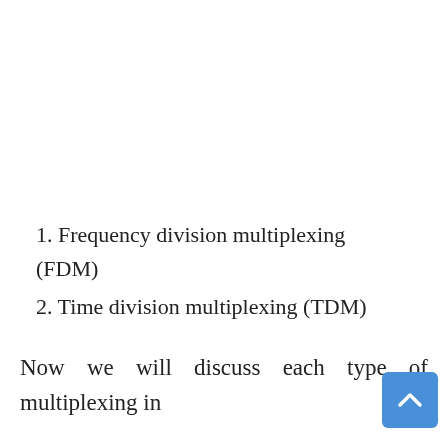1. Frequency division multiplexing (FDM)
2. Time division multiplexing (TDM)
Now we will discuss each type of multiplexing in